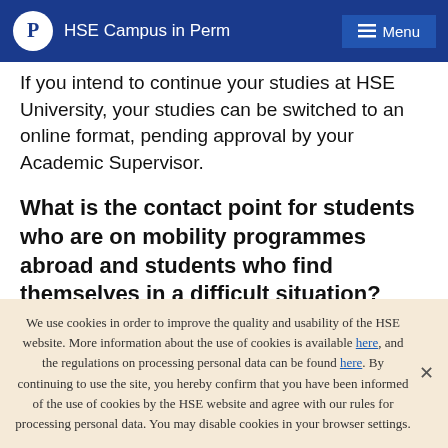HSE Campus in Perm | Menu
If you intend to continue your studies at HSE University, your studies can be switched to an online format, pending approval by your Academic Supervisor.
What is the contact point for students who are on mobility programmes abroad and students who find themselves in a difficult situation?
All questions concerning mobility studies can be
We use cookies in order to improve the quality and usability of the HSE website. More information about the use of cookies is available here, and the regulations on processing personal data can be found here. By continuing to use the site, you hereby confirm that you have been informed of the use of cookies by the HSE website and agree with our rules for processing personal data. You may disable cookies in your browser settings.